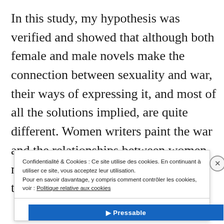In this study, my hypothesis was verified and showed that although both female and male novels make the connection between sexuality and war, their ways of expressing it, and most of all the solutions implied, are quite different. Women writers paint the war and the relationships between women, men and their families in the darkest terms: sexuality is tied to women's
Confidentialité & Cookies : Ce site utilise des cookies. En continuant à utiliser ce site, vous acceptez leur utilisation. Pour en savoir davantage, y compris comment contrôler les cookies, voir : Politique relative aux cookies
Fermer et accepter